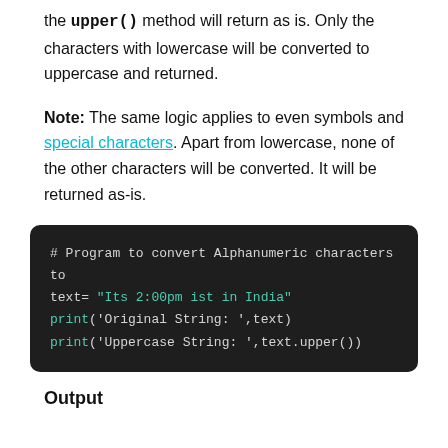the upper() method will return as is. Only the characters with lowercase will be converted to uppercase and returned.
Note: The same logic applies to even symbols and special characters. Apart from lowercase, none of the other characters will be converted. It will be returned as-is.
[Figure (screenshot): Dark-themed code block showing Python code: # Program to convert Alphanumeric characters to uppercase. text= "Its 2:00pm ist in India". print('Original String: ',text). print('Uppercase String: ',text.upper())]
Output